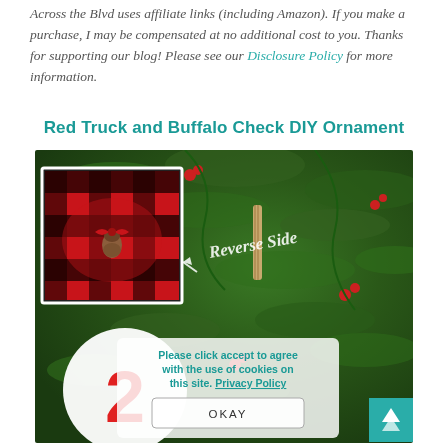Across the Blvd uses affiliate links (including Amazon). If you make a purchase, I may be compensated at no additional cost to you. Thanks for supporting our blog! Please see our Disclosure Policy for more information.
Red Truck and Buffalo Check DIY Ornament
[Figure (photo): Christmas tree decorated with ornaments. An inset photo shows a buffalo check (red and black plaid) ornament with a pine cone and bow. Text reads 'Reverse Side' with an arrow. At the bottom is a circular white ornament with a red number 2 and a red truck. A cookie consent popup is visible, and a teal back-to-top button in the lower right.]